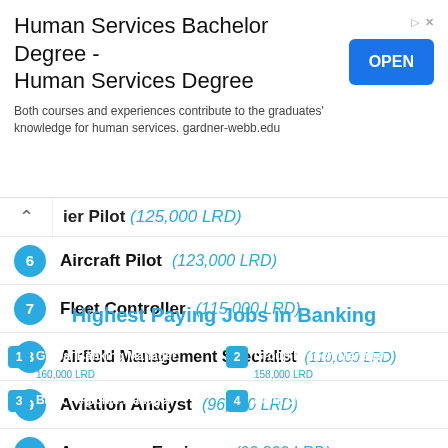[Figure (screenshot): Advertisement banner for Human Services Bachelor Degree from gardner-webb.edu with an OPEN button]
Chief Pilot (125,000 LRD) — partial/scrolled row
6 Aircraft Pilot (123,000 LRD)
7 Fleet Controller (115,000 LRD)
8 Airfield Management Specialist (110,000 LRD)
9 Aviation Analyst (96,100 LRD)
10 Aerospace Engineer (90,800 LRD)
[Figure (screenshot): Banner showing Highest Paying Jobs in Banking with a grid listing: 1 Global Banking Manager 160,000 LRD, 2 Group Branch Manager 158,000 LRD, 3 Bank Regional Manager, 4 Bank Operations Head]